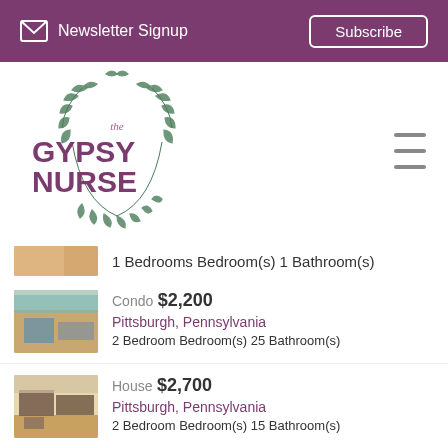Newsletter Signup  Subscribe
[Figure (logo): The Gypsy Nurse logo with wreath and text]
1 Bedrooms Bedroom(s) 1 Bathroom(s)
Condo  $2,200
Pittsburgh, Pennsylvania
2 Bedroom Bedroom(s) 25 Bathroom(s)
[Figure (photo): Photo of a condo bedroom with blue bedspread and curtains]
House  $2,700
Pittsburgh, Pennsylvania
2 Bedroom Bedroom(s) 15 Bathroom(s)
[Figure (photo): Photo of a house living room with sofa and hardwood floors]